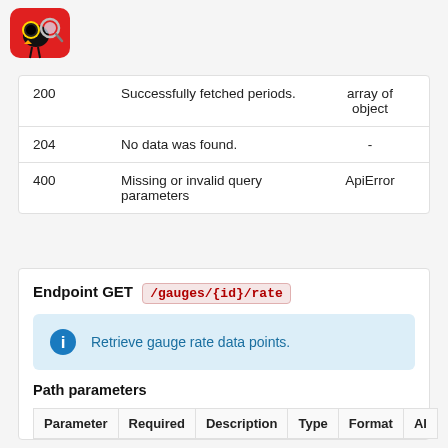[Figure (logo): Red bird logo with magnifying glass]
|  |  |  |
| --- | --- | --- |
| 200 | Successfully fetched periods. | array of object |
| 204 | No data was found. | - |
| 400 | Missing or invalid query parameters | ApiError |
Endpoint GET /gauges/{id}/rate
Retrieve gauge rate data points.
Path parameters
| Parameter | Required | Description | Type | Format | Al |
| --- | --- | --- | --- | --- | --- |